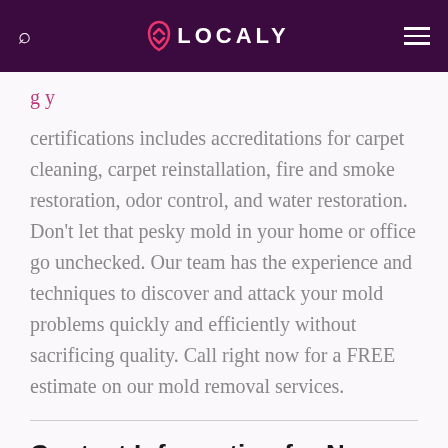LOCALY
certifications includes accreditations for carpet cleaning, carpet reinstallation, fire and smoke restoration, odor control, and water restoration. Don't let that pesky mold in your home or office go unchecked. Our team has the experience and techniques to discover and attack your mold problems quickly and efficiently without sacrificing quality. Call right now for a FREE estimate on our mold removal services.
Contact Information for New